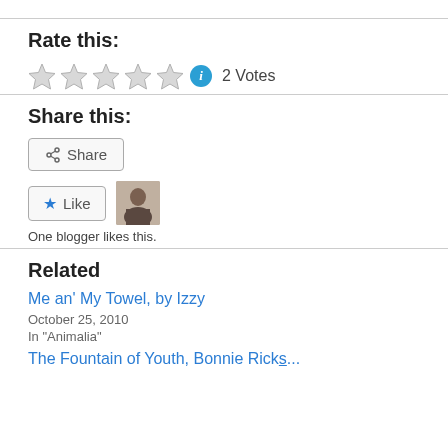Rate this:
[Figure (other): Five empty star rating icons with info icon and '2 Votes' text]
Share this:
[Figure (other): Share button with share icon]
[Figure (other): Like button with star icon and blogger avatar thumbnail]
One blogger likes this.
Related
Me an' My Towel, by Izzy
October 25, 2010
In "Animalia"
The Fountain of Youth, Bonnie Ricks...